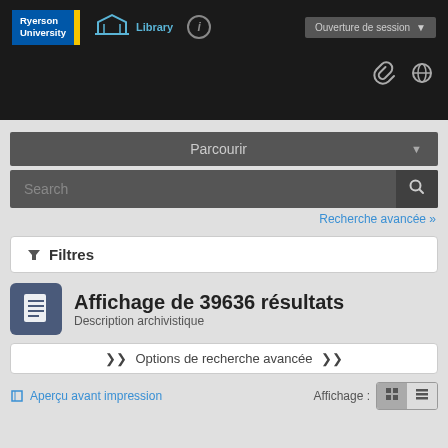[Figure (screenshot): Ryerson University Library website header with navigation bar, search box, and results interface in French]
Ryerson University Library — Ouverture de session
Parcourir
Search
Recherche avancée »
Filtres
Affichage de 39636 résultats
Description archivistique
Options de recherche avancée
Aperçu avant impression
Affichage :